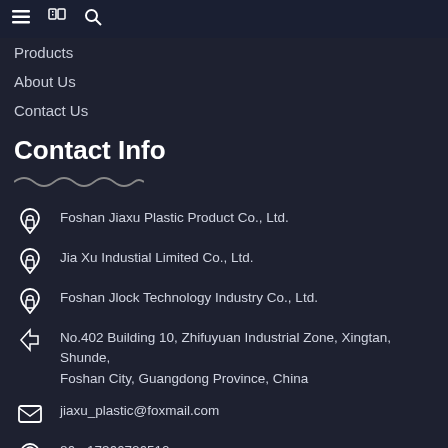≡  📖  🔍
Products
About Us
Contact Us
Contact Info
Foshan Jiaxu Plastic Product Co., Ltd.
Jia Xu Industial Limited Co., Ltd.
Foshan Jlock Technology Industry Co., Ltd.
No.402 Building 10, Zhifuyuan Industrial Zone, Xingtan, Shunde, Foshan City, Guangdong Province, China
jiaxu_plastic@foxmail.com
86 - 17366726510
Newsletters